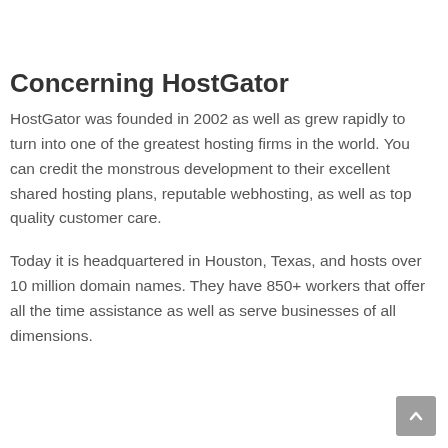Concerning HostGator
HostGator was founded in 2002 as well as grew rapidly to turn into one of the greatest hosting firms in the world. You can credit the monstrous development to their excellent shared hosting plans, reputable webhosting, as well as top quality customer care.
Today it is headquartered in Houston, Texas, and hosts over 10 million domain names. They have 850+ workers that offer all the time assistance as well as serve businesses of all dimensions.